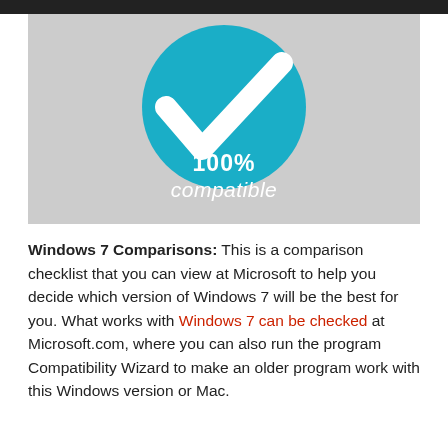[Figure (logo): A teal/blue circle with a large white checkmark and the text '100% compatible' below the checkmark inside/around the circle, on a light gray background.]
Windows 7 Comparisons: This is a comparison checklist that you can view at Microsoft to help you decide which version of Windows 7 will be the best for you. What works with Windows 7 can be checked at Microsoft.com, where you can also run the program Compatibility Wizard to make an older program work with this Windows version or Mac.